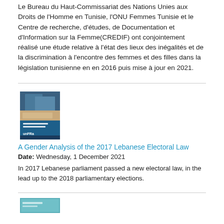Le Bureau du Haut-Commissariat des Nations Unies aux Droits de l'Homme en Tunisie, l'ONU Femmes Tunisie et le Centre de recherche, d'études, de Documentation et d'Information sur la Femme(CREDIF) ont conjointement réalisé une étude relative à l'état des lieux des inégalités et de la discrimination à l'encontre des femmes et des filles dans la législation tunisienne en en 2016 puis mise à jour en 2021.
[Figure (photo): Book cover image: A Gender Analysis of the 2017 Lebanese Electoral Law, showing a person working at a table with a blue cover design and UN Women logo]
A Gender Analysis of the 2017 Lebanese Electoral Law
Date: Wednesday, 1 December 2021
In 2017 Lebanese parliament passed a new electoral law, in the lead up to the 2018 parliamentary elections.
[Figure (photo): Partial book cover image at bottom of page]